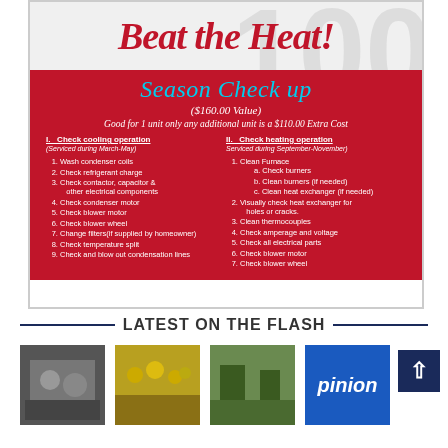[Figure (infographic): HVAC Season Checkup advertisement. Red background with 'Beat the Heat!' title and a two-column checklist for cooling and heating operations. Cooling (Section I, March-May): 1. Wash condenser coils, 2. Check refrigerant charge, 3. Check contactor, capacitor & other electrical components, 4. Check condenser motor, 5. Check blower motor, 6. Check blower wheel, 7. Change filters(if supplied by homeowner), 8. Check temperature split, 9. Check and blow out condensation lines. Heating (Section II, September-November): 1. Clean Furnace (a. Check burners, b. Clean burners if needed, c. Clean heat exchanger if needed), 2. Visually check heat exchanger for holes or cracks, 3. Clean thermocouples, 4. Check amperage and voltage, 5. Check all electrical parts, 6. Check blower motor, 7. Check blower wheel. Value $160.00, good for 1 unit only, additional unit $110.00 extra cost.]
LATEST ON THE FLASH
[Figure (photo): Photo of sports players volleyball or similar]
[Figure (photo): Photo of crowd at sports event]
[Figure (photo): Photo of outdoor sports event]
[Figure (other): Opinion label box - blue background with word 'pinion']